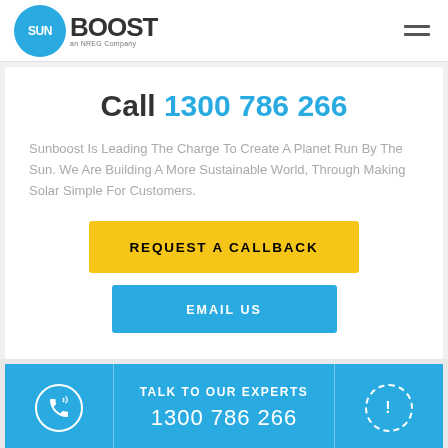[Figure (logo): Sunboost logo — blue circle with SUN text, followed by BOOST in dark letters, an NREG Company tagline]
Call 1300 786 266
Sunboost Is Leading The Charge To Create A Planet Run By The Sun. We Are Building A More Sustainable World, Through Making Solar Simple For Customers.
REQUEST A CALLBACK
EMAIL US
TALK TO OUR EXPERTS
1300 786 266